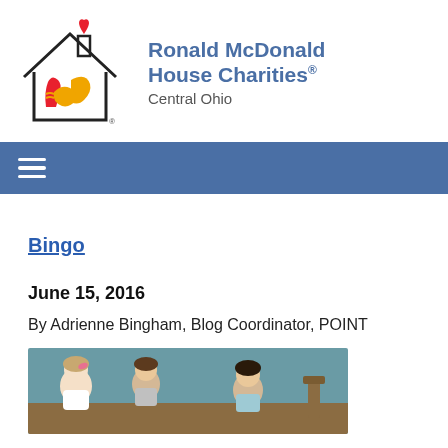[Figure (logo): Ronald McDonald House Charities Central Ohio logo — house outline with hands and red heart on top, organization name in blue text to the right]
Ronald McDonald House Charities® Central Ohio
Bingo
June 15, 2016
By Adrienne Bingham, Blog Coordinator, POINT
[Figure (photo): Photo of people (women/girls) seated at tables, appearing to be playing bingo or participating in an activity in a room with teal/blue walls]